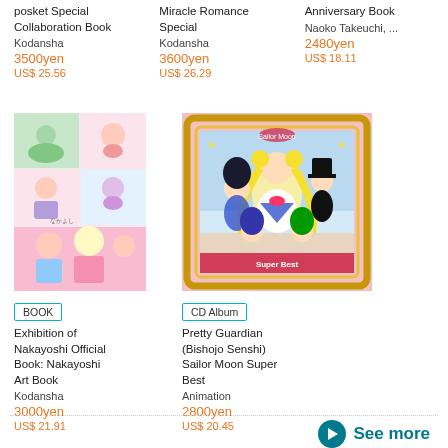posket Special Collaboration Book
Kodansha
3500yen
US$ 25.56
Miracle Romance Special
Kodansha
3600yen
US$ 26.29
Anniversary Book
Naoko Takeuchi, ...
2480yen
US$ 18.11
[Figure (photo): Exhibition of Nakayoshi Official Book art book cover with manga illustrations]
BOOK
Exhibition of Nakayoshi Official Book: Nakayoshi Art Book
Kodansha
3000yen
US$ 21.91
[Figure (photo): Pretty Guardian Sailor Moon Super Best CD album cover with Sailor Moon characters]
CD Album
Pretty Guardian (Bishojo Senshi) Sailor Moon Super Best
Animation
2800yen
US$ 20.45
See more